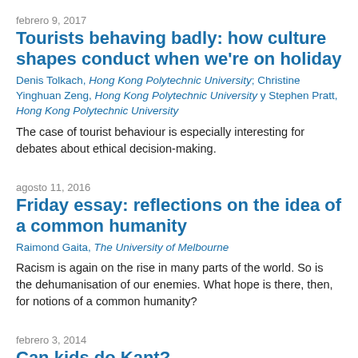febrero 9, 2017
Tourists behaving badly: how culture shapes conduct when we're on holiday
Denis Tolkach, Hong Kong Polytechnic University; Christine Yinghuan Zeng, Hong Kong Polytechnic University y Stephen Pratt, Hong Kong Polytechnic University
The case of tourist behaviour is especially interesting for debates about ethical decision-making.
agosto 11, 2016
Friday essay: reflections on the idea of a common humanity
Raimond Gaita, The University of Melbourne
Racism is again on the rise in many parts of the world. So is the dehumanisation of our enemies. What hope is there, then, for notions of a common humanity?
febrero 3, 2014
Can kids do Kant?
Dennis Hayes, University of Derby
Philosophy was always dangerous, as the life and death of Socrates taught us. He was, need I remind you, executed not by an authoritarian regime but by a caring democracy. Times have changed however, and…